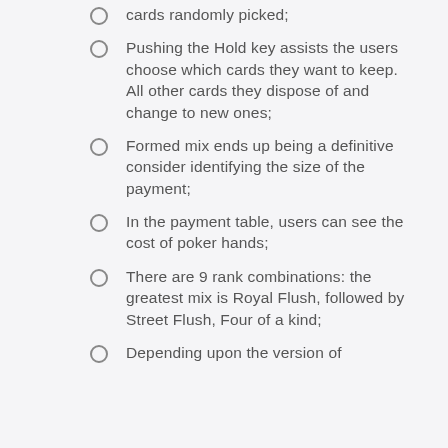cards randomly picked;
Pushing the Hold key assists the users choose which cards they want to keep. All other cards they dispose of and change to new ones;
Formed mix ends up being a definitive consider identifying the size of the payment;
In the payment table, users can see the cost of poker hands;
There are 9 rank combinations: the greatest mix is Royal Flush, followed by Street Flush, Four of a kind;
Depending upon the version of